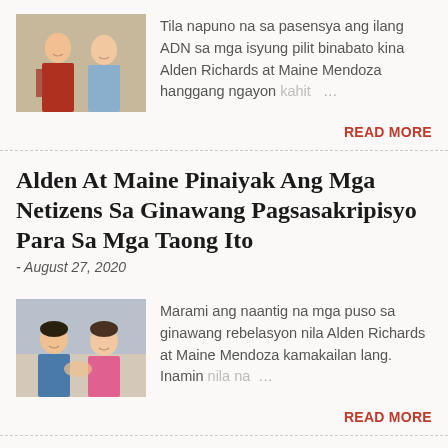Tila napuno na sa pasensya ang ilang ADN sa mga isyung pilit binabato kina Alden Richards at Maine Mendoza hanggang ngayon kahit …
READ MORE
Alden At Maine Pinaiyak Ang Mga Netizens Sa Ginawang Pagsasakripisyo Para Sa Mga Taong Ito
- August 27, 2020
Marami ang naantig na mga puso sa ginawang rebelasyon nila Alden Richards at Maine Mendoza kamakailan lang. Inamin nila na …
READ MORE